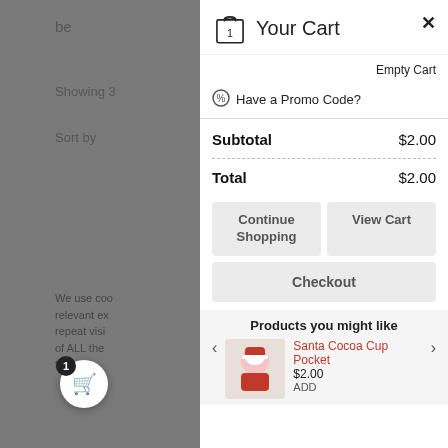Your Cart
Empty Cart
Have a Promo Code?
| Item | Amount |
| --- | --- |
| Subtotal | $2.00 |
| Total | $2.00 |
Continue Shopping
View Cart
Checkout
Products you might like
Santa Cocoa Cup Pocket
$2.00
ADD